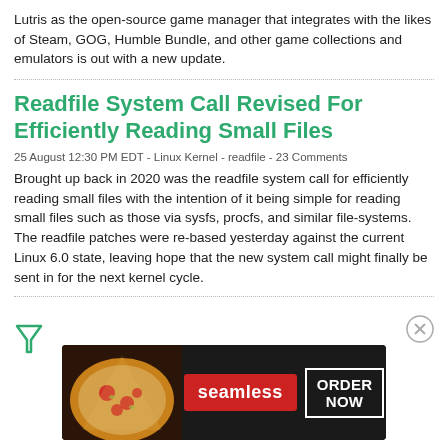Lutris as the open-source game manager that integrates with the likes of Steam, GOG, Humble Bundle, and other game collections and emulators is out with a new update.
Readfile System Call Revised For Efficiently Reading Small Files
25 August 12:30 PM EDT - Linux Kernel - readfile - 23 Comments
Brought up back in 2020 was the readfile system call for efficiently reading small files with the intention of it being simple for reading small files such as those via sysfs, procfs, and similar file-systems. The readfile patches were re-based yesterday against the current Linux 6.0 state, leaving hope that the new system call might finally be sent in for the next kernel cycle.
[Figure (other): Advertisement banner for Seamless food delivery service showing pizza image on left, Seamless logo in red, and ORDER NOW button on right with dark background]